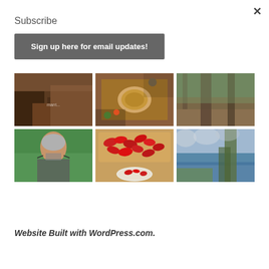×
Subscribe
Sign up here for email updates!
[Figure (photo): Grid of six photos: top row shows interior/restaurant scene, coffee cup with crafts, forest floor with trees; bottom row shows portrait of woman with gray hair and glasses outdoors, red peppers/tomatoes in containers, lakeside scene with tree]
Website Built with WordPress.com.